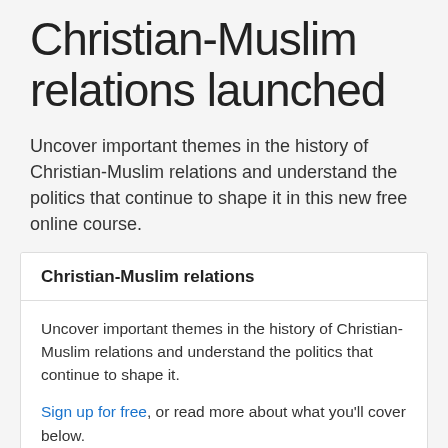Christian-Muslim relations launched
Uncover important themes in the history of Christian-Muslim relations and understand the politics that continue to shape it in this new free online course.
| Christian-Muslim relations |
| --- |
| Uncover important themes in the history of Christian-Muslim relations and understand the politics that continue to shape it.
Sign up for free, or read more about what you'll cover below. |